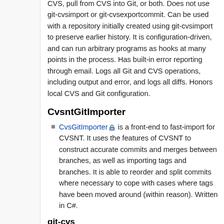CVS, pull from CVS into Git, or both. Does not use git-cvsimport or git-cvsexportcommit. Can be used with a repository initially created using git-cvsimport to preserve earlier history. It is configuration-driven, and can run arbitrary programs as hooks at many points in the process. Has built-in error reporting through email. Logs all Git and CVS operations, including output and error, and logs all diffs. Honors local CVS and Git configuration.
CvsntGitImporter
CvsGitImporter [lock icon] is a front-end to fast-import for CVSNT. It uses the features of CVSNT to construct accurate commits and merges between branches, as well as importing tags and branches. It is able to reorder and split commits where necessary to cope with cases where tags have been moved around (within reason). Written in C#.
git-cvs